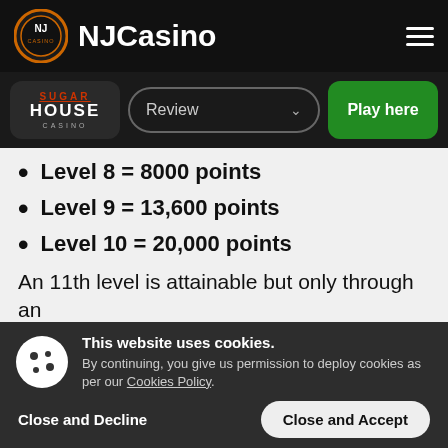NJCasino
[Figure (logo): NJCasino logo with circular NJ emblem and SugarHouse Casino navigation bar with Review dropdown and Play here button]
Level 8 = 8000 points
Level 9 = 13,600 points
Level 10 = 20,000 points
An 11th level is attainable but only through an
This website uses cookies. By continuing, you give us permission to deploy cookies as per our Cookies Policy.
Close and Decline   Close and Accept